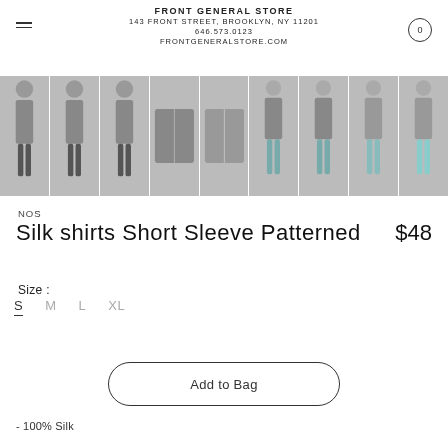FRONT GENERAL STORE
143 FRONT STREET, BROOKLYN, NY 11201
646.573.0123
FRONTGENERALSTORE.COM
[Figure (photo): A horizontal strip of 9 photos showing models wearing patterned silk short sleeve shirts. The first three photos show a woman in a black skirt, the next two show close-up shirt layouts, and the last four show men in jeans wearing the shirts.]
NOS
Silk shirts Short Sleeve Patterned
$48
Size :
S
M
L
XL
Add to Bag
- 100% Silk